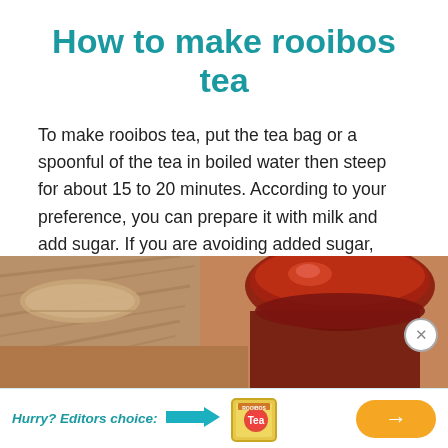How to make rooibos tea
To make rooibos tea, put the tea bag or a spoonful of the tea in boiled water then steep for about 15 to 20 minutes. According to your preference, you can prepare it with milk and add sugar. If you are avoiding added sugar, rooibos tea has a natural mild sweet taste, thus, can be taken unsweetened. You can then serve it hot or chilled.
[Figure (photo): Photo of rooibos tea in a glass cup with burlap fabric, warm amber/red color]
Hurry? Editors choice: